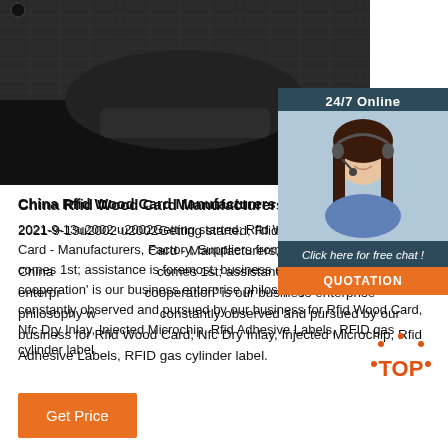[Figure (photo): Close-up photo of a dark/black RFID wristband or card product with textured surface on dark background]
[Figure (photo): 24/7 Online chat widget showing a female customer service agent with headset, with 'Click here for free chat!' text and QUOTATION button]
China Rfid Wood Card Manufacturers And Suppliers
2021-9-13u2002·u2002Getting started; Rfid Wood Card; Rfid Wood Card - Manufacturers, Factory, Suppliers from China. 'Quality comes 1st; assistance is foremost; business enterprise cooperation' is our business enterprise philosophy which is constantly observed and pursued by our business for Rfid Wood Card, Nfc Dry Inlay, Injected Microchip, Rfid Adhesive Labels, RFID gas cylinder label.
[Figure (other): TOP badge with orange dots around it indicating back-to-top button]
Get Price